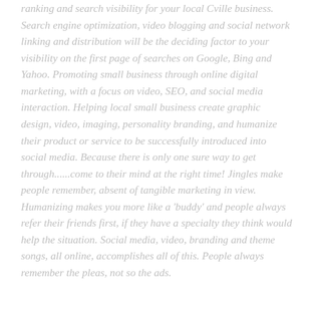ranking and search visibility for your local Cville business. Search engine optimization, video blogging and social network linking and distribution will be the deciding factor to your visibility on the first page of searches on Google, Bing and Yahoo. Promoting small business through online digital marketing, with a focus on video, SEO, and social media interaction. Helping local small business create graphic design, video, imaging, personality branding, and humanize their product or service to be successfully introduced into social media. Because there is only one sure way to get through......come to their mind at the right time! Jingles make people remember, absent of tangible marketing in view. Humanizing makes you more like a 'buddy' and people always refer their friends first, if they have a specialty they think would help the situation. Social media, video, branding and theme songs, all online, accomplishes all of this. People always remember the pleas, not so the ads.